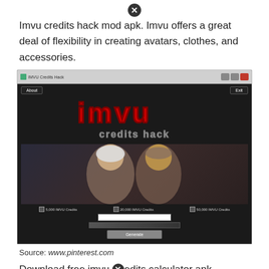Imvu credits hack mod apk. Imvu offers a great deal of flexibility in creating avatars, clothes, and accessories.
[Figure (screenshot): Screenshot of IMVU Credits Hack application window showing the IMVU logo in red bubble letters, 'credits hack' text, two avatar characters (female with white hair and male), checkboxes for 5,000 / 20,000 / 50,000 IMVU Credits, an input field, progress bar, and Generate button.]
Source: www.pinterest.com
Download free imvu credits calculator apk